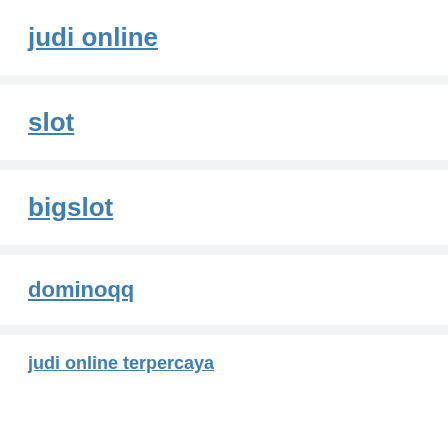judi online
slot
bigslot
dominoqq
judi online terpercaya